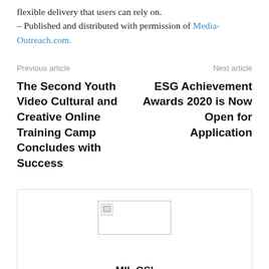flexible delivery that users can rely on.
– Published and distributed with permission of Media-Outreach.com.
Previous article
Next article
The Second Youth Video Cultural and Creative Online Training Camp Concludes with Success
ESG Achievement Awards 2020 is Now Open for Application
[Figure (other): Broken image placeholder thumbnail]
MIL OSI
http://www.livenews.co.nz